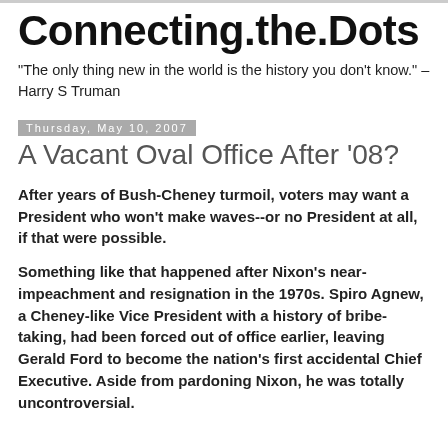Connecting.the.Dots
"The only thing new in the world is the history you don't know." –Harry S Truman
Thursday, May 10, 2007
A Vacant Oval Office After '08?
After years of Bush-Cheney turmoil, voters may want a President who won't make waves--or no President at all, if that were possible.
Something like that happened after Nixon's near-impeachment and resignation in the 1970s. Spiro Agnew, a Cheney-like Vice President with a history of bribe-taking, had been forced out of office earlier, leaving Gerald Ford to become the nation's first accidental Chief Executive. Aside from pardoning Nixon, he was totally uncontroversial.